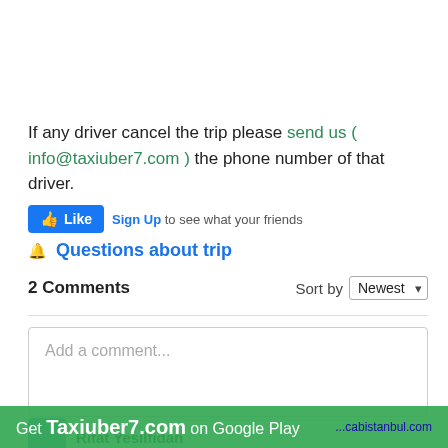If any driver cancel the trip please send us ( info@taxiuber7.com ) the phone number of that driver.
[Figure (screenshot): Facebook Like button with Sign Up text: 'Sign Up to see what your friends like...']
Questions about trip
2 Comments   Sort by Newest
[Figure (screenshot): Comment input box with placeholder 'Add a comment...' and a green avatar button with letter T]
Rifat Yesilfidan
Get Taxiuber7.com on Google Play  ...cabistanbul.com